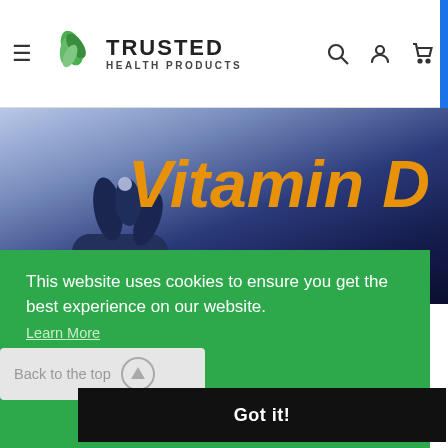[Figure (screenshot): Trusted Health Products website header with hamburger menu, logo (leaf icon + TRUSTED HEALTH PRODUCTS text), and search/account/cart icons on the right, with a blue strip on far right edge.]
[Figure (photo): Hero image showing a hand holding a small pill/capsule against a dark blue background, with 'Vitamin D' text in orange italic on the right side.]
This website uses cookies to ensure you get the best experience on our website.
Learn More
Back to the top
Got it!
Recent Studies Shed Light On Benefits Of Vitamin D